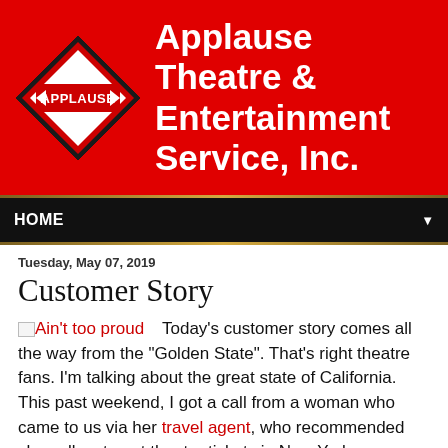[Figure (logo): Applause Theatre & Entertainment Service, Inc. header banner with red background, diamond-shaped logo on the left with APPLAUSE text, and company name on the right in white bold text]
HOME ▼
Tuesday, May 07, 2019
Customer Story
Ain't too proud  Today's customer story comes all the way from the "Golden State". That's right theatre fans. I'm talking about the great state of California. This past weekend, I got a call from a woman who came to us via her travel agent, who recommended she call us to get theatre tickets in New York.
I asked her when she would be here, and she said that her and her